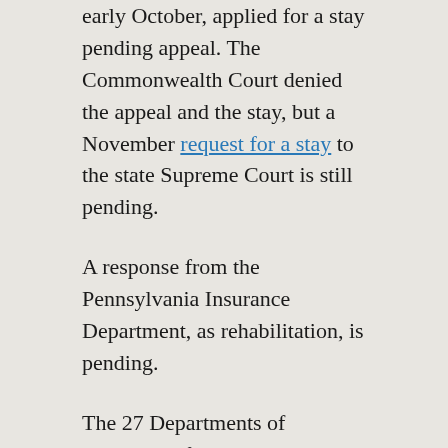early October, applied for a stay pending appeal. The Commonwealth Court denied the appeal and the stay, but a November request for a stay to the state Supreme Court is still pending.
A response from the Pennsylvania Insurance Department, as rehabilitation, is pending.
The 27 Departments of Insurance of the Amici Curiaei insurance regulators are, from the document are below.
The five jurisdictions that have joined since mid-November as amici appear to be Alaska, Arizona, the District of Columbia, Indiana, Ohio and Vermont.